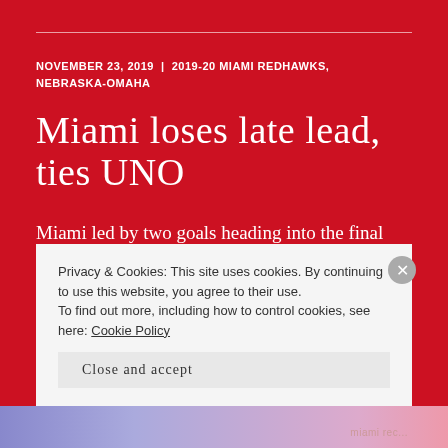NOVEMBER 23, 2019 | 2019-20 MIAMI REDHAWKS, NEBRASKA-OMAHA
Miami loses late lead, ties UNO
Miami led by two goals heading into the final minute. Miami's Ryan Savage (photo by Cathy Lachmann/VFTG). Unfortunately for the RedHawks, No. 18 Nebraska-Omaha scored two 6-on-5 goals in
Privacy & Cookies: This site uses cookies. By continuing to use this website, you agree to their use.
To find out more, including how to control cookies, see here: Cookie Policy
Close and accept